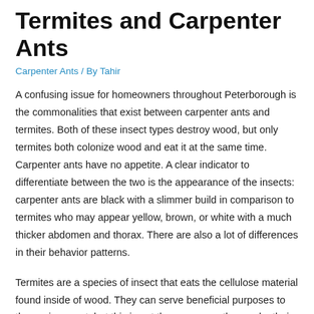Termites and Carpenter Ants
Carpenter Ants / By Tahir
A confusing issue for homeowners throughout Peterborough is the commonalities that exist between carpenter ants and termites. Both of these insect types destroy wood, but only termites both colonize wood and eat it at the same time. Carpenter ants have no appetite. A clear indicator to differentiate between the two is the appearance of the insects: carpenter ants are black with a slimmer build in comparison to termites who may appear yellow, brown, or white with a much thicker abdomen and thorax. There are also a lot of differences in their behavior patterns.
Termites are a species of insect that eats the cellulose material found inside of wood. They can serve beneficial purposes to the environment, but this is not the case once they make their way inside of homes, where a colony can destroy the wood foundation of a home in a few years' time. Termites share many traits with